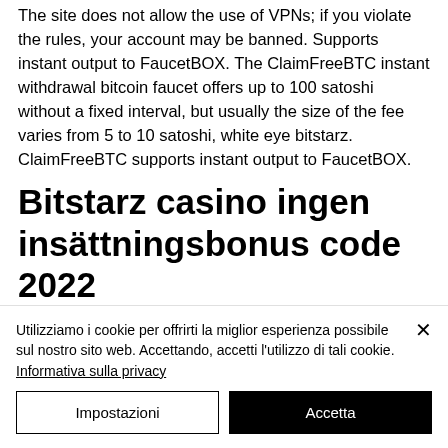The site does not allow the use of VPNs; if you violate the rules, your account may be banned. Supports instant output to FaucetBOX. The ClaimFreeBTC instant withdrawal bitcoin faucet offers up to 100 satoshi without a fixed interval, but usually the size of the fee varies from 5 to 10 satoshi, white eye bitstarz. ClaimFreeBTC supports instant output to FaucetBOX.
Bitstarz casino ingen insättningsbonus code 2022
Utilizziamo i cookie per offrirti la miglior esperienza possibile sul nostro sito web. Accettando, accetti l'utilizzo di tali cookie. Informativa sulla privacy